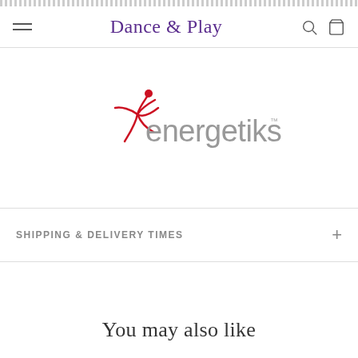Dance & Play
[Figure (logo): Energetiks brand logo with a red ballet dancer figure and grey lowercase text 'energetiks' with trademark symbol]
SHIPPING & DELIVERY TIMES
You may also like